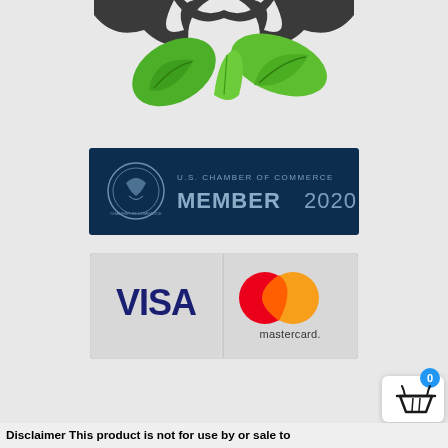[Figure (logo): Green leaf/plant logo with dark bird/hands silhouette at top, partially cropped at top of page]
[Figure (logo): U.S. Chamber of Commerce Member 2020 badge on dark navy background with circular seal on left]
[Figure (logo): Payment method logos showing VISA on left panel and Mastercard (red and orange overlapping circles) on right panel, on light grey/white background]
[Figure (infographic): Shopping cart widget: blue circle with '0' badge at top-right, white rounded rectangle with black basket/cart icon]
Disclaimer This product is not for use by or sale to